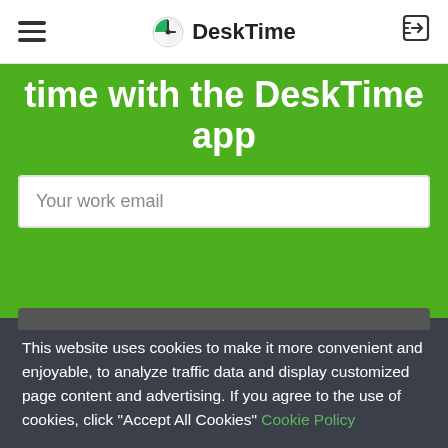DeskTime
time with the DeskTime app
Your work email
This website uses cookies to make it more convenient and enjoyable, to analyze traffic data and display customized page content and advertising. If you agree to the use of cookies, click "Accept All Cookies" Cookie Policy
ACCEPT ALL COOKIES
Cookies Settings